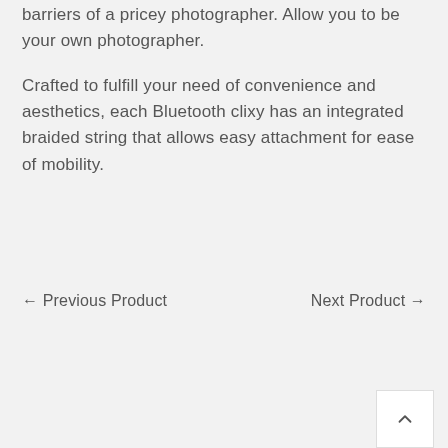barriers of a pricey photographer. Allow you to be your own photographer.
Crafted to fulfill your need of convenience and aesthetics, each Bluetooth clixy has an integrated braided string that allows easy attachment for ease of mobility.
← Previous Product
Next Product →